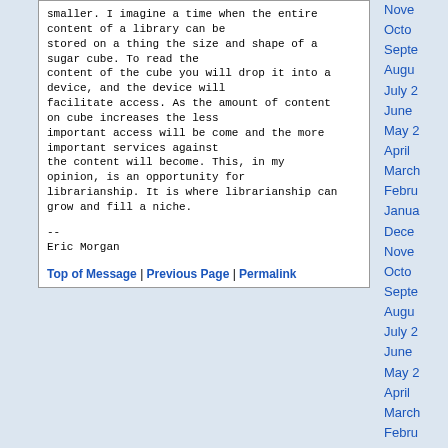smaller. I imagine a time when the entire content of a library can be stored on a thing the size and shape of a sugar cube. To read the content of the cube you will drop it into a device, and the device will facilitate access. As the amount of content on cube increases the less important access will be come and the more important services against the content will become. This, in my opinion, is an opportunity for librarianship. It is where librarianship can grow and fill a niche.

--
Eric Morgan
Top of Message | Previous Page | Permalink
November
October
Septe
Augus
July 2
June
May 2
April
March
Febru
Janua